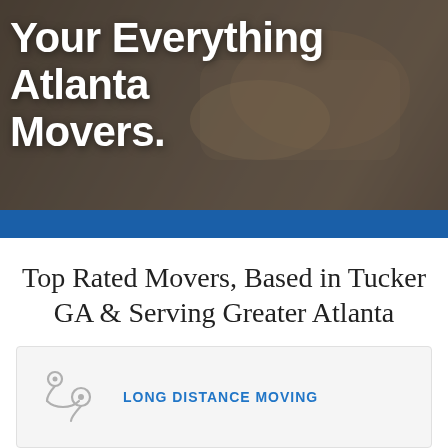[Figure (photo): Hero banner image showing people shaking hands, with a dark overlay. White bold text reads 'Your Everything Atlanta Movers.']
Your Everything Atlanta Movers.
Top Rated Movers, Based in Tucker GA & Serving Greater Atlanta
LONG DISTANCE MOVING
LOCAL MOVES